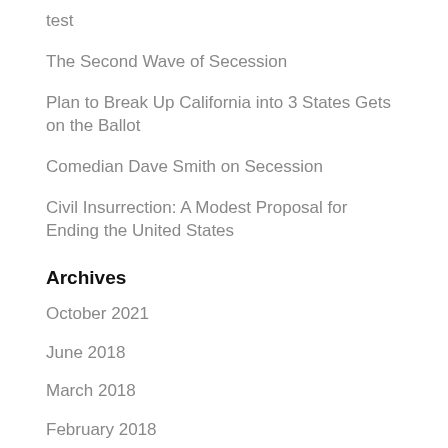test
The Second Wave of Secession
Plan to Break Up California into 3 States Gets on the Ballot
Comedian Dave Smith on Secession
Civil Insurrection: A Modest Proposal for Ending the United States
Archives
October 2021
June 2018
March 2018
February 2018